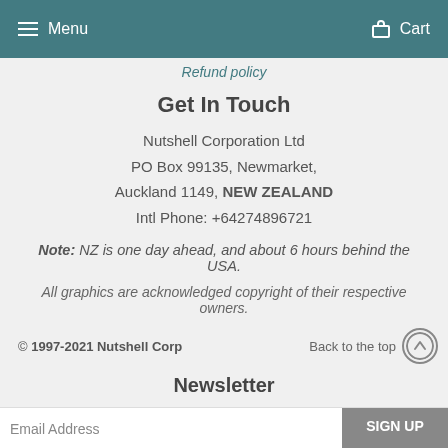Menu   Cart
Refund policy
Get In Touch
Nutshell Corporation Ltd
PO Box 99135, Newmarket,
Auckland 1149, NEW ZEALAND
Intl Phone: +64274896721
Note: NZ is one day ahead, and about 6 hours behind the USA.
All graphics are acknowledged copyright of their respective owners.
© 1997-2021 Nutshell Corp   Back to the top ↑
Newsletter
Email Address   SIGN UP